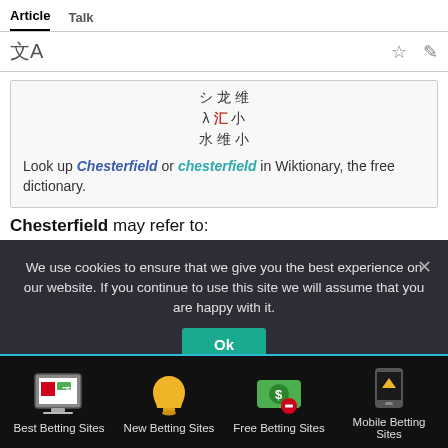Article  Talk
[Figure (screenshot): Wikipedia/Wiktionary lookup box with decorative CJK characters and text: Look up Chesterfield or chesterfield in Wiktionary, the free dictionary.]
Chesterfield may refer to:
We use cookies to ensure that we give you the best experience on our website. If you continue to use this site we will assume that you are happy with it.
[Figure (screenshot): Cookie consent overlay with Ok button]
Best Betting Sites  New Betting Sites  Free Betting Sites  Mobile Betting Sites